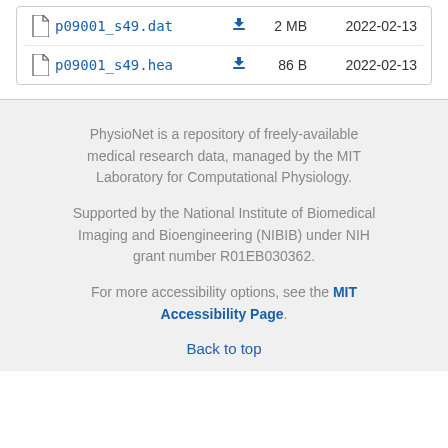p09001_s49.dat  2 MB  2022-02-13
p09001_s49.hea  86 B  2022-02-13
PhysioNet is a repository of freely-available medical research data, managed by the MIT Laboratory for Computational Physiology.
Supported by the National Institute of Biomedical Imaging and Bioengineering (NIBIB) under NIH grant number R01EB030362.
For more accessibility options, see the MIT Accessibility Page.
Back to top